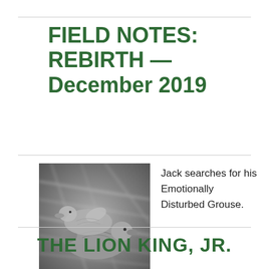FIELD NOTES: REBIRTH — December 2019
[Figure (photo): Black and white photograph of two decorative duck figurines on a textured surface with motion blur effect.]
Jack searches for his Emotionally Disturbed Grouse.
THE LION KING, JR.